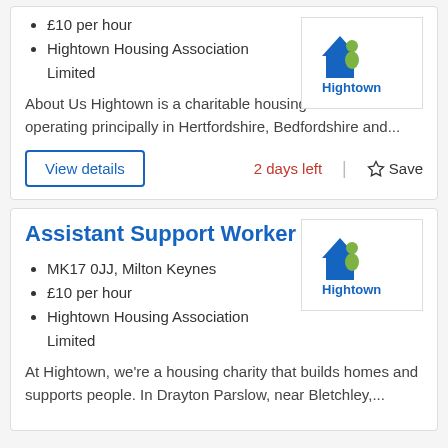£10 per hour
Hightown Housing Association Limited
[Figure (logo): Hightown Housing Association logo with blue house icon and green person icon, text 'Hightown' below]
About Us Hightown is a charitable housing association operating principally in Hertfordshire, Bedfordshire and...
View details | 2 days left | Save
Assistant Support Worker
MK17 0JJ, Milton Keynes
£10 per hour
Hightown Housing Association Limited
[Figure (logo): Hightown Housing Association logo with blue house icon and green person icon, text 'Hightown' below]
At Hightown, we're a housing charity that builds homes and supports people. In Drayton Parslow, near Bletchley,...